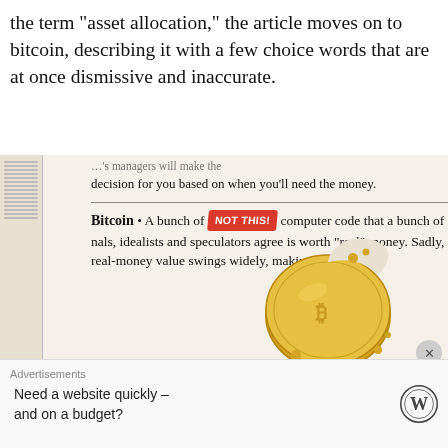the term "asset allocation," the article moves on to bitcoin, describing it with a few choice words that are at once dismissive and inaccurate.
[Figure (photo): Newspaper clipping showing a definition of Bitcoin as 'A bunch of computer code that a bunch of criminals, idealists and speculators agree is worth "real" money. Sadly, its real-money value swings widely, making it' with a 'NOT THIS!' red badge and an illustration of a bitten gold coin.]
Advertisements
Need a website quickly – and on a budget?